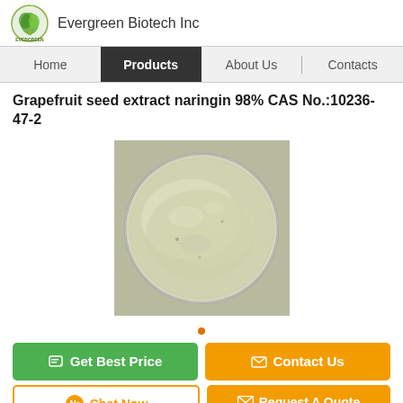Evergreen Biotech Inc
Grapefruit seed extract naringin 98% CAS No.:10236-47-2
[Figure (photo): A glass petri dish filled with white-yellowish fine powder (naringin extract), photographed from above on a white background.]
Get Best Price
Contact Us
Chat Now
Request A Quote